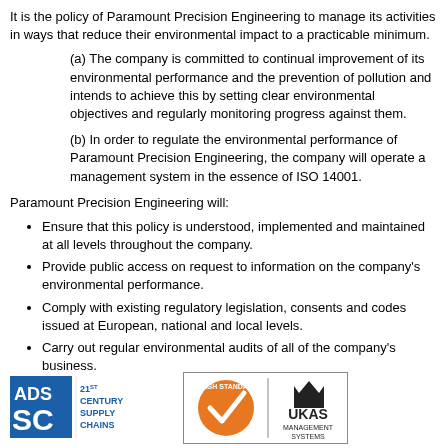It is the policy of Paramount Precision Engineering to manage its activities in ways that reduce their environmental impact to a practicable minimum.
(a) The company is committed to continual improvement of its environmental performance and the prevention of pollution and intends to achieve this by setting clear environmental objectives and regularly monitoring progress against them.
(b) In order to regulate the environmental performance of Paramount Precision Engineering, the company will operate a management system in the essence of ISO 14001.
Paramount Precision Engineering will:
Ensure that this policy is understood, implemented and maintained at all levels throughout the company.
Provide public access on request to information on the company's environmental performance.
Comply with existing regulatory legislation, consents and codes issued at European, national and local levels.
Carry out regular environmental audits of all of the company's business.
[Figure (logo): ADS 21st Century Supply Chains logo — blue square badge with ADS and SC text]
[Figure (logo): BSI certification mark with orange tick circle and UKAS crown logo in white box with border]